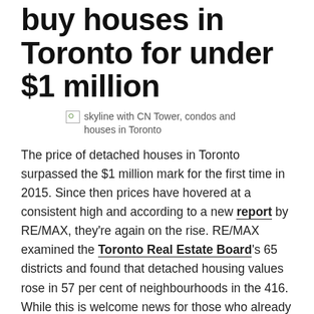buy houses in Toronto for under $1 million
[Figure (photo): skyline with CN Tower, condos and houses in Toronto]
The price of detached houses in Toronto surpassed the $1 million mark for the first time in 2015. Since then prices have hovered at a consistent high and according to a new report by RE/MAX, they're again on the rise. RE/MAX examined the Toronto Real Estate Board's 65 districts and found that detached housing values rose in 57 per cent of neighbourhoods in the 416. While this is welcome news for those who already own a piece of this lucrative property pie, those trying to buy houses in